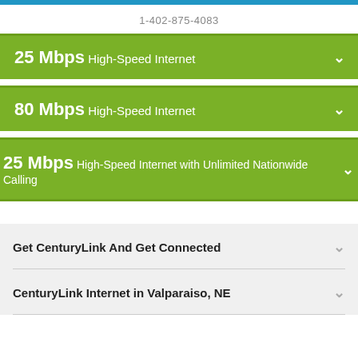1-402-875-4083
25 Mbps High-Speed Internet
80 Mbps High-Speed Internet
25 Mbps High-Speed Internet with Unlimited Nationwide Calling
Get CenturyLink And Get Connected
CenturyLink Internet in Valparaiso, NE